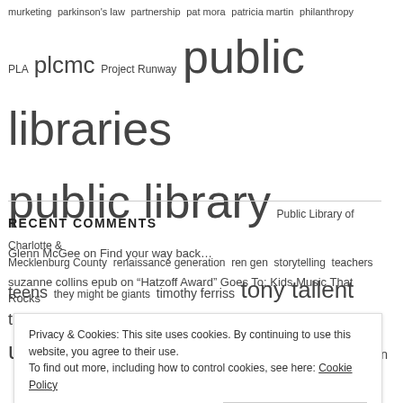murketing parkinson's law partnership pat mora patricia martin philanthropy PLA plcmc Project Runway public libraries public library Public Library of Charlotte & Mecklenburg County renaissance generation ren gen storytelling teachers teens they might be giants timothy ferriss tony tallent travel userexperience user experience UX VHS vision
RECENT COMMENTS
Glenn McGee on Find your way back…
suzanne collins epub on "Hatzoff Award" Goes To: Kids Music That Rocks
Privacy & Cookies: This site uses cookies. By continuing to use this website, you agree to their use.
To find out more, including how to control cookies, see here: Cookie Policy
Close and accept